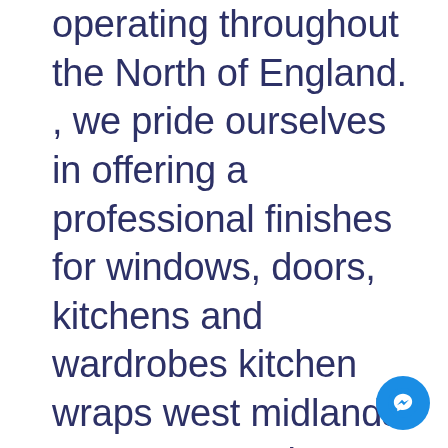operating throughout the North of England. , we pride ourselves in offering a professional finishes for windows, doors, kitchens and wardrobes kitchen wraps west midlands. We use K2 paint, as well as the latest coating techniques, offering a fast effective way to change the look of your home.
[Figure (other): Blue circular Messenger chat button in bottom-right corner]